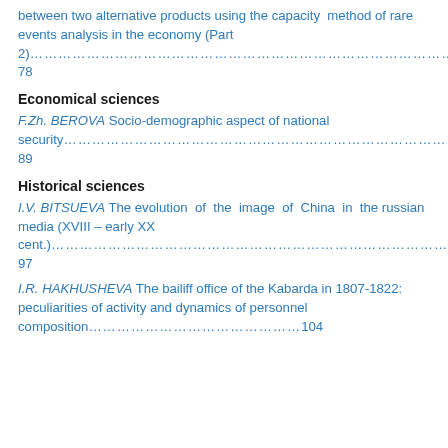between two alternative products using the capacity method of rare events analysis in the economy (Part 2)……………………………………………………………………………………………………………………………78
Economical sciences
F.Zh. BEROVA Socio-demographic aspect of national security……………………………………………………………………………………………………………89
Historical sciences
I.V. BITSUEVA The evolution of the image of China in the russian media (XVIII – early XX cent.)………………………………………………………………………………………………97
I.R. HAKHUSHEVA The bailiff office of the Kabarda in 1807-1822: peculiarities of activity and dynamics of personnel composition………………………………….104